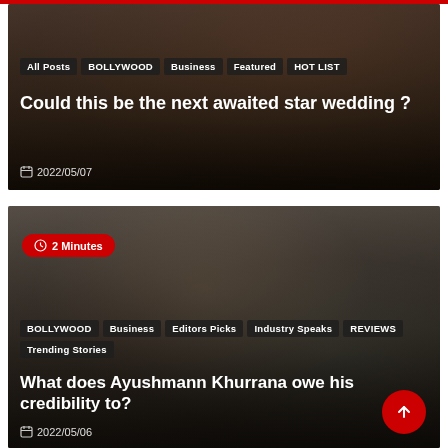[Figure (photo): First article card showing a couple in the background with navigation tags and article title overlay]
All Posts
BOLLYWOOD
Business
Featured
HOT LIST
Could this be the next awaited star wedding ?
2022/05/07
[Figure (photo): Second article card showing Ayushmann Khurrana with a beard and jacket, with a 2 Minutes reading time badge]
BOLLYWOOD
Business
Editors Picks
Industry Speaks
REVIEWS
Trending Stories
What does Ayushmann Khurrana owe his credibility to?
2022/05/06